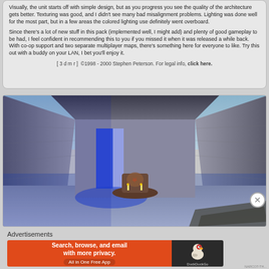Visually, the unit starts off with simple design, but as you progress you see the quality of the architecture gets better. Texturing was good, and I didn't see many bad misalignment problems. Lighting was done well for the most part, but in a few areas the colored lighting use definitely went overboard.
Since there's a lot of new stuff in this pack (implemented well, I might add) and plenty of good gameplay to be had, I feel confident in recommending this to you if you missed it when it was released a while back. With co-op support and two separate multiplayer maps, there's something here for everyone to like. Try this out with a buddy on your LAN, I bet you'll enjoy it.
[ 3 d m r ]  ©1998 - 2000 Stephen Peterson. For legal info, click here.
[Figure (screenshot): In-game screenshot of a Quake-style level showing stone/rocky walls lit with blue lighting, a central altar or pedestal area, and a blue doorway in the background.]
Advertisements
[Figure (other): DuckDuckGo advertisement banner: orange background with text 'Search, browse, and email with more privacy. All in One Free App' and DuckDuckGo logo on dark background.]